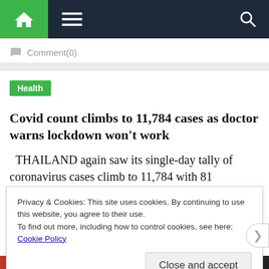Navigation bar with home, menu, and search
Comment(0)
Health
Covid count climbs to 11,784 cases as doctor warns lockdown won't work
THAILAND again saw its single-day tally of coronavirus cases climb to 11,784 with 81
Privacy & Cookies: This site uses cookies. By continuing to use this website, you agree to their use.
To find out more, including how to control cookies, see here:
Cookie Policy
Close and accept